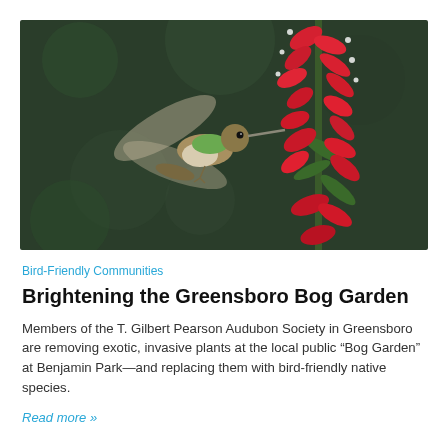[Figure (photo): A hummingbird hovering in flight next to tall red flowers (cardinal flower/lobelia), set against a dark green bokeh background.]
Bird-Friendly Communities
Brightening the Greensboro Bog Garden
Members of the T. Gilbert Pearson Audubon Society in Greensboro are removing exotic, invasive plants at the local public “Bog Garden” at Benjamin Park—and replacing them with bird-friendly native species.
Read more »